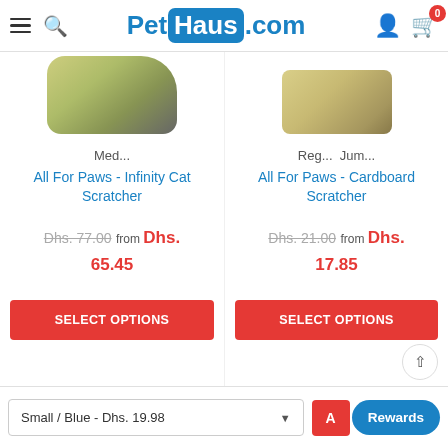PetHaus.com
[Figure (photo): Partial product image of a cat scratcher (left column), cropped at top of view]
Med...
All For Paws - Infinity Cat Scratcher
Dhs. 77.00  from Dhs. 65.45
SELECT OPTIONS
Reg...  Jum...
All For Paws - Cardboard Scratcher
Dhs. 21.00  from Dhs. 17.85
SELECT OPTIONS
Small / Blue - Dhs. 19.98
Rewards